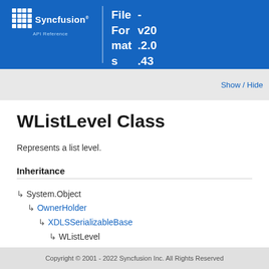Syncfusion API Reference | File Formats - v20.2.0.43
WListLevel Class
Represents a list level.
Inheritance
↳ System.Object
↳ OwnerHolder
↳ XDLSSerializableBase
↳ WListLevel
Copyright © 2001 - 2022 Syncfusion Inc. All Rights Reserved